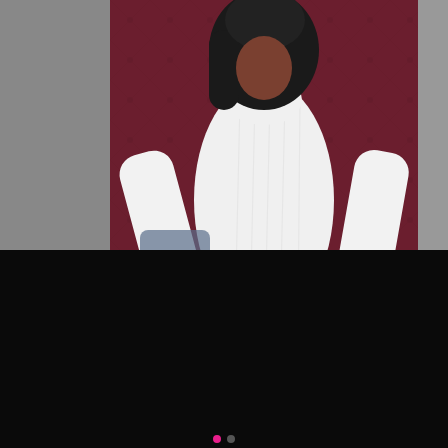[Figure (photo): Woman wearing a white ribbed long-sleeve playsuit, seated against a dark red tufted background. The playsuit has 'Lucky Label' branding on the cuffs. A magnifying glass zoom icon is in the lower right corner of the image.]
LUCKY LABEL RIBBED PLAYSUIT – WHITE
£32.99
or 4 interest-free payments of £8.25 with